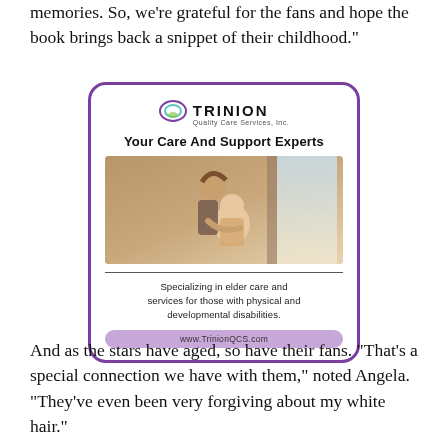memories. So, we're grateful for the fans and hope the book brings back a snippet of their childhood."
[Figure (advertisement): Trinion Quality Care Services Inc. advertisement. Logo at top with circular icon. Headline: 'Your Care And Support Experts'. Photo of a caregiver leaning over an elderly person near a window. Body text: 'Specializing in elder care and services for those with physical and developmental disabilities.' URL pill: www.TrinionQCS.com]
And as the stars have aged, so have their fans. "That's a special connection we have with them," noted Angela. "They've even been very forgiving about my white hair."